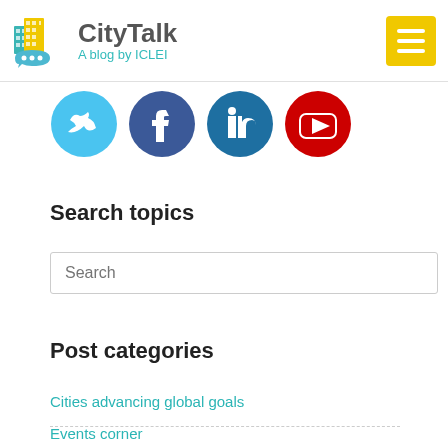CityTalk A blog by ICLEI
[Figure (illustration): Four social media icon circles: Twitter (light blue), Facebook (dark blue), LinkedIn (dark blue), Pinterest/YouTube (red)]
Search topics
Search
Post categories
Cities advancing global goals
Events corner